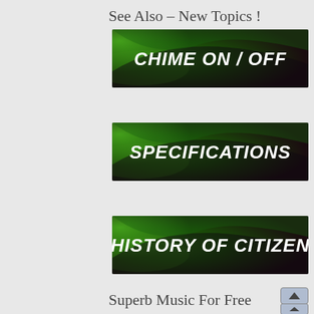See Also – New Topics !
[Figure (illustration): Dark background with green aurora-like glow, white italic text reading CHIME ON / OFF]
[Figure (illustration): Dark background with green aurora-like glow, white italic text reading SPECIFICATIONS]
[Figure (illustration): Dark background with green aurora-like glow, white italic text reading HISTORY OF CITIZEN]
Superb Music For Free